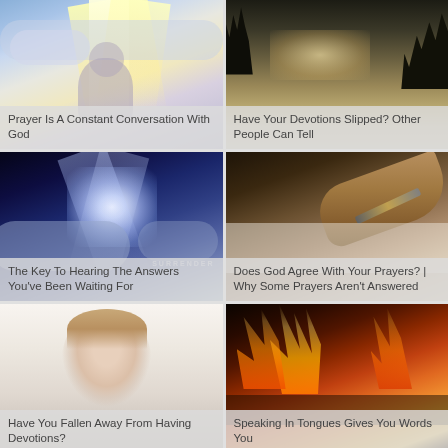[Figure (photo): Person with hands raised toward bright light breaking through clouds - religious/prayer themed image with text overlay 'Prayer Is A Constant Conversation With God']
[Figure (photo): Sunset through trees landscape photo with text overlay 'Have Your Devotions Slipped? Other People Can Tell']
[Figure (photo): Bright light explosion in dark blue/purple cosmic space with text overlay 'The Key To Hearing The Answers You've Been Waiting For']
[Figure (photo): Hand writing on paper with text overlay 'Does God Agree With Your Prayers? | Why Some Prayers Aren't Answered']
[Figure (photo): Child's head/face partial view with text overlay 'Have You Fallen Away From Having Devotions?']
[Figure (photo): Fire/flames image with text overlay 'Speaking In Tongues Gives You Words You']